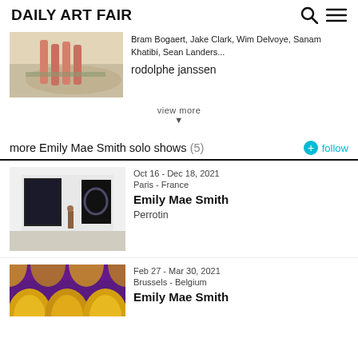Daily Art Fair
[Figure (photo): Partial view of artwork showing figures with pink/red tones over landscape background]
Bram Bogaert, Jake Clark, Wim Delvoye, Sanam Khatibi, Sean Landers...
rodolphe janssen
view more
more Emily Mae Smith solo shows (5)  follow
[Figure (photo): Gallery interior showing a person standing between two large dark paintings in a white-walled gallery space]
Oct 16 - Dec 18, 2021
Paris - France
Emily Mae Smith
Perrotin
[Figure (photo): Close-up of colorful artwork with gold fan/shell pattern on purple background]
Feb 27 - Mar 30, 2021
Brussels - Belgium
Emily Mae Smith